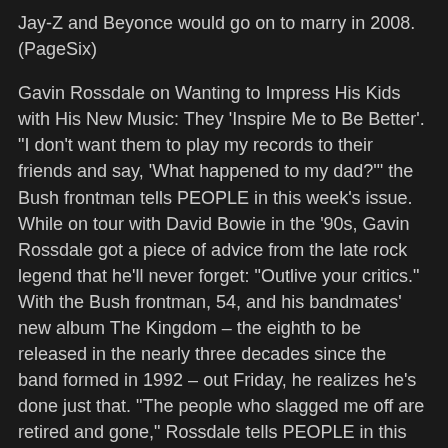Jay-Z and Beyonce would go on to marry in 2008. (PageSix)
Gavin Rossdale on Wanting to Impress His Kids with His New Music: They 'Inspire Me to Be Better'. "I don't want them to play my records to their friends and say, 'What happened to my dad?'" the Bush frontman tells PEOPLE in this week's issue. While on tour with David Bowie in the '90s, Gavin Rossdale got a piece of advice from the late rock legend that he'll never forget: "Outlive your critics." With the Bush frontman, 54, and his bandmates' new album The Kingdom – the eighth to be released in the nearly three decades since the band formed in 1992 – out Friday, he realizes he's done just that. "The people who slagged me off are retired and gone," Rossdale tells PEOPLE in this week's issue, on newsstands Friday. "I was like, 'I did it!'" These days there are really only four critics Rossdale cares about, anyway: his kids. While writing and recording The Kingdom, he had his sons Kingston, 14, Zuma, 11, and Apollo, 6, whom he shares with ex-wife Gwen Stefani, and his daughter Daisy Lowe, 31, whom he shares with ex